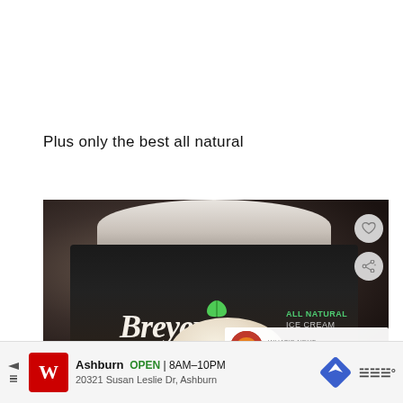Plus only the best all natural
[Figure (photo): Breyers All Natural Ice Cream container with a scoop of vanilla ice cream in the foreground. The dark container shows the Breyers logo in cursive script, 'ALL NATURAL ICE CREAM' text, a green leaf, and a yellow promotional banner reading 'Now 33% more Real Vanilla Bean!'. The image has a heart icon and share icon overlaid on the right side, plus a 'WHAT'S NEXT → Fill Me Up!' panel in the lower right.]
Ashburn  OPEN  8AM–10PM  20321 Susan Leslie Dr, Ashburn